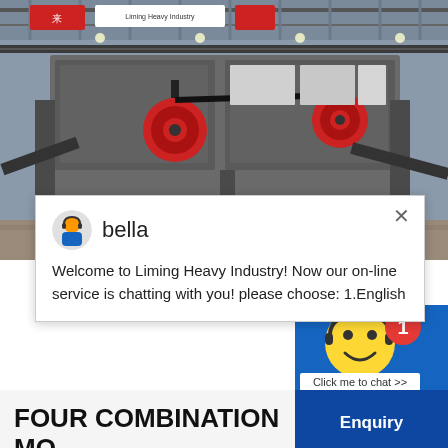[Figure (photo): Industrial crusher/screening machine in a large factory warehouse with metal framework and red circular components]
bella
Welcome to Liming Heavy Industry! Now our on-line service is chatting with you! please choose: 1.English
FOUR COMBINATION MOBILE CRUSHER
Four-In-One Plant, economical and applicative, flexibly used in secondary coarse
Enquiry
cywaitml@gmail.com